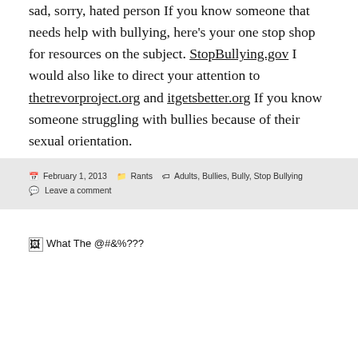sad, sorry, hated person If you know someone that needs help with bullying, here's your one stop shop for resources on the subject. StopBullying.gov I would also like to direct your attention to thetrevorproject.org and itgetsbetter.org If you know someone struggling with bullies because of their sexual orientation.
February 1, 2013  Rants  Adults, Bullies, Bully, Stop Bullying  Leave a comment
[Figure (other): Broken image placeholder showing 'What The @#&%???']